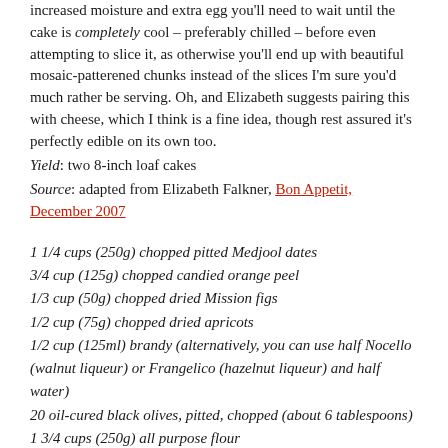increased moisture and extra egg you'll need to wait until the cake is completely cool – preferably chilled – before even attempting to slice it, as otherwise you'll end up with beautiful mosaic-patterened chunks instead of the slices I'm sure you'd much rather be serving. Oh, and Elizabeth suggests pairing this with cheese, which I think is a fine idea, though rest assured it's perfectly edible on its own too.
Yield: two 8-inch loaf cakes
Source: adapted from Elizabeth Falkner, Bon Appetit, December 2007
1 1/4 cups (250g) chopped pitted Medjool dates
3/4 cup (125g) chopped candied orange peel
1/3 cup (50g) chopped dried Mission figs
1/2 cup (75g) chopped dried apricots
1/2 cup (125ml) brandy (alternatively, you can use half Nocello (walnut liqueur) or Frangelico (hazelnut liqueur) and half water)
20 oil-cured black olives, pitted, chopped (about 6 tablespoons)
1 3/4 cups (250g) all purpose flour
2 teaspoons baking powder
1/2 teaspoon fine sea salt